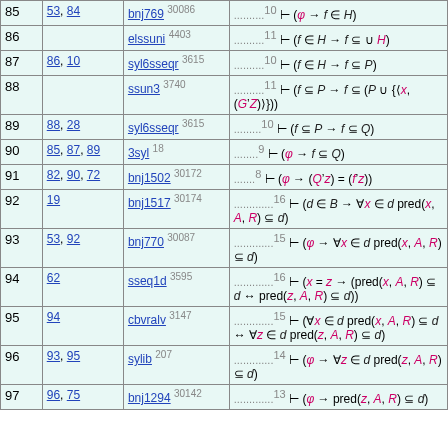| # | Refs | Rule | Formula |
| --- | --- | --- | --- |
| 85 | 53, 84 | bnj769 30086 | ..........10 ⊢ (φ → f ∈ H) |
| 86 |  | elssuni 4403 | ..........11 ⊢ (f ∈ H → f ⊆ ∪ H) |
| 87 | 86, 10 | syl6sseqr 3615 | ..........10 ⊢ (f ∈ H → f ⊆ P) |
| 88 |  | ssun3 3740 | ..........11 ⊢ (f ⊆ P → f ⊆ (P ∪ {⟨x, (G'Z)⟩})) |
| 89 | 88, 28 | syl6sseqr 3615 | ..........10 ⊢ (f ⊆ P → f ⊆ Q) |
| 90 | 85, 87, 89 | 3syl 18 | .........9 ⊢ (φ → f ⊆ Q) |
| 91 | 82, 90, 72 | bnj1502 30172 | ........8 ⊢ (φ → (Q'z) = (f'z)) |
| 92 | 19 | bnj1517 30174 | ..............16 ⊢ (d ∈ B → ∀x ∈ d pred(x, A, R) ⊆ d) |
| 93 | 53, 92 | bnj770 30087 | ..............15 ⊢ (φ → ∀x ∈ d pred(x, A, R) ⊆ d) |
| 94 | 62 | sseq1d 3595 | ..............16 ⊢ (x = z → (pred(x, A, R) ⊆ d ↔ pred(z, A, R) ⊆ d)) |
| 95 | 94 | cbvralv 3147 | ..............15 ⊢ (∀x ∈ d pred(x, A, R) ⊆ d ↔ ∀z ∈ d pred(z, A, R) ⊆ d) |
| 96 | 93, 95 | sylib 207 | ..............14 ⊢ (φ → ∀z ∈ d pred(z, A, R) ⊆ d) |
| 97 | 96, 75 | bnj1294 30142 | ..............13 ⊢ (φ → pred(z, A, R) ⊆ d) |